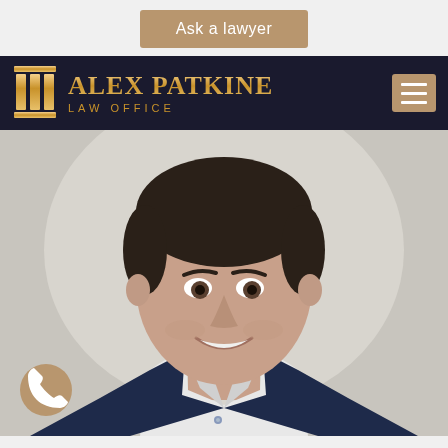Ask a lawyer
ALEX PATKINE LAW OFFICE
[Figure (photo): Professional headshot of Alex Patkine, a middle-aged man in a dark navy blazer and white shirt, smiling, against a light grey background. A phone call button (tan circle with phone icon) appears in the bottom left corner.]